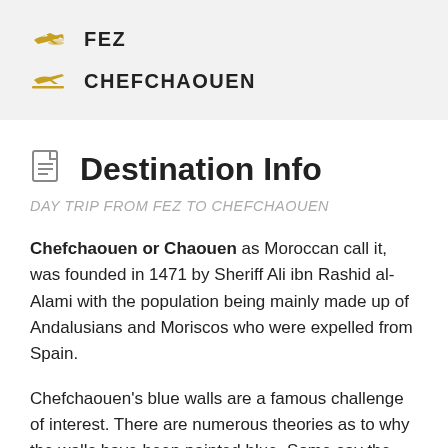FEZ
CHEFCHAOUEN
Destination Info
DAY TRIP FROM FEZ TO CHEFCHAOUEN
Chefchaouen or Chaouen as Moroccan call it, was founded in 1471 by Sheriff Ali ibn Rashid al-Alami with the population being mainly made up of Andalusians and Moriscos who were expelled from Spain.
Chefchaouen's blue walls are a famous challenge of interest. There are numerous theories as to why the walls have been painted blue. Some say the paint is in